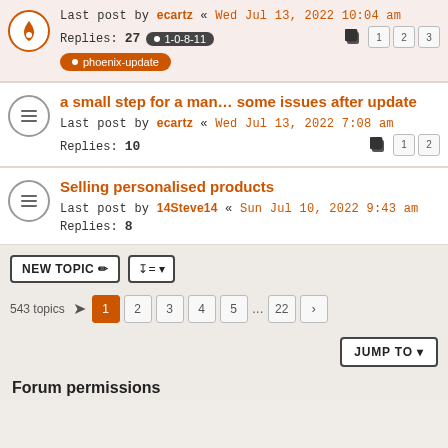Last post by ecartz « Wed Jul 13, 2022 10:04 am
Replies: 27  1-0-8-11
phoenix-update
a small step for a man… some issues after update
Last post by ecartz « Wed Jul 13, 2022 7:08 am
Replies: 10
Selling personalised products
Last post by 14Steve14 « Sun Jul 10, 2022 9:43 am
Replies: 8
NEW TOPIC  sort  543 topics  1 2 3 4 5 … 22 >
JUMP TO
Forum permissions